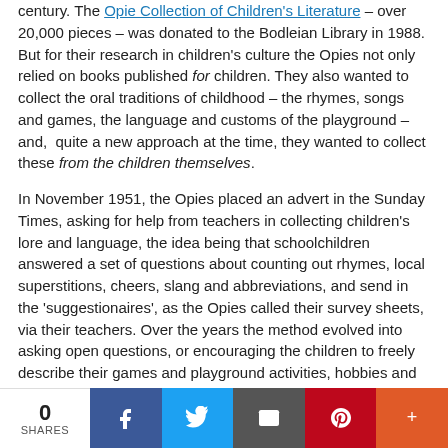century. The Opie Collection of Children's Literature – over 20,000 pieces – was donated to the Bodleian Library in 1988.
But for their research in children's culture the Opies not only relied on books published for children. They also wanted to collect the oral traditions of childhood – the rhymes, songs and games, the language and customs of the playground – and, quite a new approach at the time, they wanted to collect these from the children themselves.

In November 1951, the Opies placed an advert in the Sunday Times, asking for help from teachers in collecting children's lore and language, the idea being that schoolchildren answered a set of questions about counting out rhymes, local superstitions, cheers, slang and abbreviations, and send in the 'suggestionaires', as the Opies called their survey sheets, via their teachers. Over the years the method evolved into asking open questions, or encouraging the children to freely describe their games and playground activities, hobbies and preferences. The teachers were instructed not to direct or aid the children when writing these papers, and even to leave the spelling unchecked.
From the 1950s through to the 1990s, the Opies received thousands of
0 SHARES | Facebook | Twitter | Email | Pinterest | More